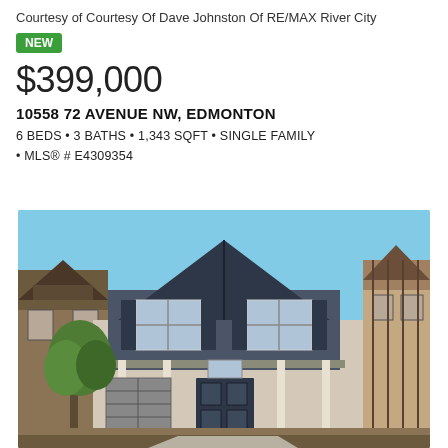Courtesy of Courtesy Of Dave Johnston Of RE/MAX River City
NEW
$399,000
10558 72 AVENUE NW, EDMONTON
6 BEDS • 3 BATHS • 1,343 SQFT • SINGLE FAMILY • MLS® # E4309354
[Figure (photo): Exterior photo of a two-storey single family home with dark blue/navy siding and trim, peaked roof, two windows with dark shutters on the upper floor, a covered front porch with white columns, dark front door, and a tree in the front yard. Adjacent homes are visible on either side. Blue sky background.]